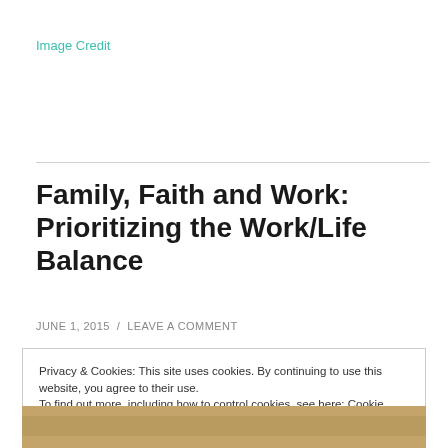Image Credit
Family, Faith and Work: Prioritizing the Work/Life Balance
JUNE 1, 2015 / LEAVE A COMMENT
Privacy & Cookies: This site uses cookies. By continuing to use this website, you agree to their use.
To find out more, including how to control cookies, see here: Cookie Policy
[Figure (photo): Partial view of a photo at the bottom of the page, brownish tones]